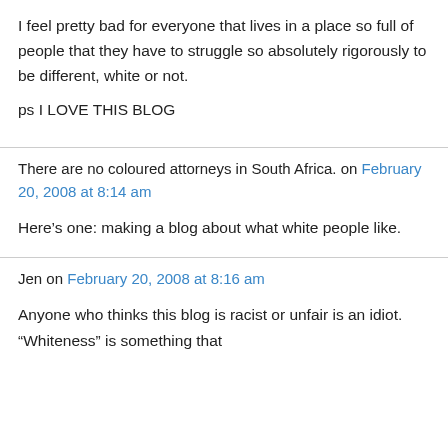I feel pretty bad for everyone that lives in a place so full of people that they have to struggle so absolutely rigorously to be different, white or not.

ps I LOVE THIS BLOG
There are no coloured attorneys in South Africa. on February 20, 2008 at 8:14 am
Here’s one: making a blog about what white people like.
Jen on February 20, 2008 at 8:16 am
Anyone who thinks this blog is racist or unfair is an idiot. “Whiteness” is something that